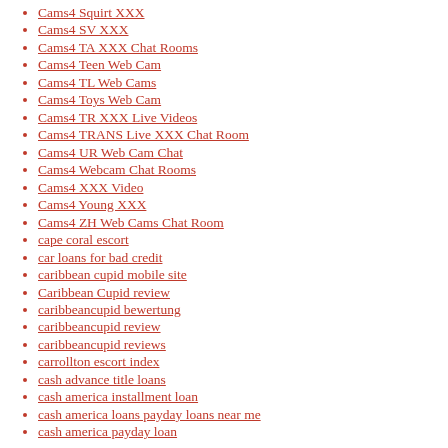Cams4 Squirt XXX
Cams4 SV XXX
Cams4 TA XXX Chat Rooms
Cams4 Teen Web Cam
Cams4 TL Web Cams
Cams4 Toys Web Cam
Cams4 TR XXX Live Videos
Cams4 TRANS Live XXX Chat Room
Cams4 UR Web Cam Chat
Cams4 Webcam Chat Rooms
Cams4 XXX Video
Cams4 Young XXX
Cams4 ZH Web Cams Chat Room
cape coral escort
car loans for bad credit
caribbean cupid mobile site
Caribbean Cupid review
caribbeancupid bewertung
caribbeancupid review
caribbeancupid reviews
carrollton escort index
cash advance title loans
cash america installment loan
cash america loans payday loans near me
cash america payday loan